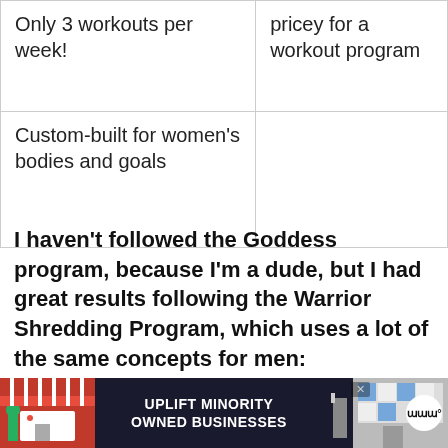| Only 3 workouts per week! | pricey for a workout program |
| Custom-built for women's bodies and goals |  |
I haven't followed the Goddess program, because I'm a dude, but I had great results following the Warrior Shredding Program, which uses a lot of the same concepts for men:
[Figure (screenshot): Advertisement banner at the bottom of the page: dark navy background with red and grey store illustrations on sides, text 'UPLIFT MINORITY OWNED BUSINESSES' in white bold text, with an X close button and a website logo on the right.]